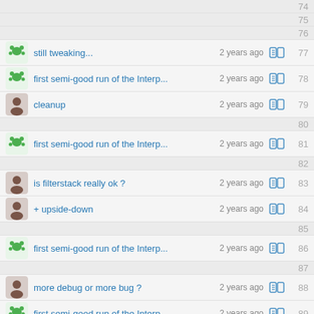74 - empty
75 - empty
76 - empty
77 - still tweaking... 2 years ago
78 - first semi-good run of the Interp... 2 years ago
79 - cleanup 2 years ago
80 - empty
81 - first semi-good run of the Interp... 2 years ago
82 - empty
83 - is filterstack really ok ? 2 years ago
84 - + upside-down 2 years ago
85 - empty
86 - first semi-good run of the Interp... 2 years ago
87 - empty
88 - more debug or more bug ? 2 years ago
89 - first semi-good run of the Interp... 2 years ago
90 - empty
91 - working on glitching methods 2 years ago
92 - empty
93 - + multidots glitcher 2 years ago
94 - working on glitching methods 2 years ago